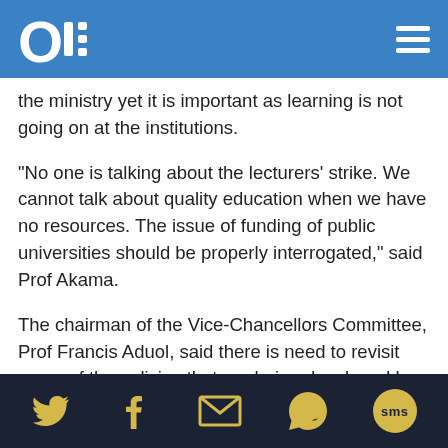OVE (logo) with hamburger menu
the ministry yet it is important as learning is not going on at the institutions.
“No one is talking about the lecturers’ strike. We cannot talk about quality education when we have no resources. The issue of funding of public universities should be properly interrogated,” said Prof Akama.
The chairman of the Vice-Chancellors Committee, Prof Francis Aduol, said there is need to revisit some of the policies that are being developed by the government regarding universities.
“We should not rush these reforms. As vice-chancellors, we will look at the proposals and make our
Social share icons: Twitter, Facebook, Email, WhatsApp, SMS